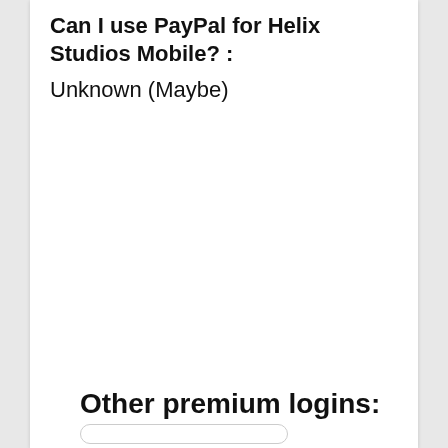Can I use PayPal for Helix Studios Mobile? :
Unknown (Maybe)
Other premium logins: